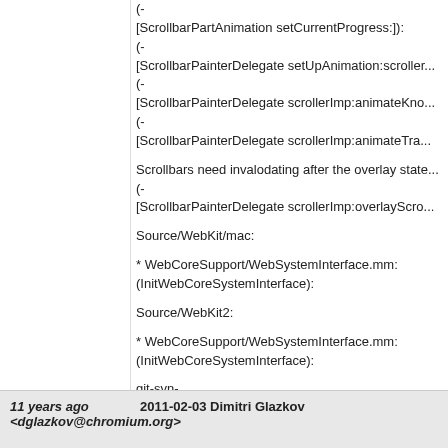(-
[ScrollbarPartAnimation setCurrentProgress:]):
(-
[ScrollbarPainterDelegate setUpAnimation:scroller...]):
(-
[ScrollbarPainterDelegate scrollerImp:animateKno...]):
(-
[ScrollbarPainterDelegate scrollerImp:animateTra...]):

Scrollbars need invalodating after the overlay state...
(-
[ScrollbarPainterDelegate scrollerImp:overlayScro...]):

Source/WebKit/mac:

* WebCoreSupport/WebSystemInterface.mm:
(InitWebCoreSystemInterface):

Source/WebKit2:

* WebCoreSupport/WebSystemInterface.mm:
(InitWebCoreSystemInterface):

git-svn-
id: https://svn.webkit.org/repository/webkit/trunk@
cd09-0410-ab3c-d52691b4dbfc
11 years ago
<dglazkov@chromium.org>
2011-02-03 Dimitri Glazkov